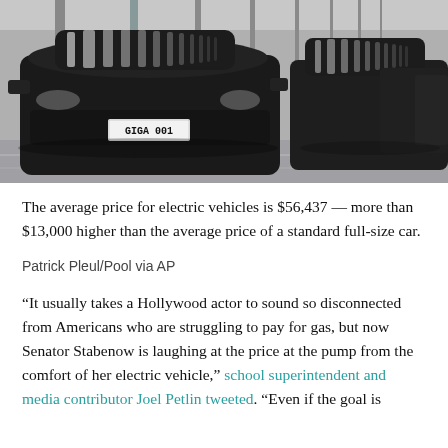[Figure (photo): Black and white photo of a row of electric vehicles on an assembly line or delivery lot, seen from the front at an angle. The lead vehicle has a license plate reading 'GIGA 001'.]
The average price for electric vehicles is $56,437 — more than $13,000 higher than the average price of a standard full-size car.
Patrick Pleul/Pool via AP
“It usually takes a Hollywood actor to sound so disconnected from Americans who are struggling to pay for gas, but now Senator Stabenow is laughing at the price at the pump from the comfort of her electric vehicle,” school superintendent and media contributor Joel Petlin tweeted. “Even if the goal is